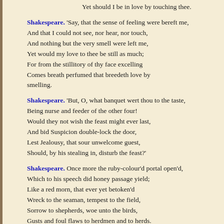Yet should I be in love by touching thee.
Shakespeare. 'Say, that the sense of feeling were bereft me, And that I could not see, nor hear, nor touch, And nothing but the very smell were left me, Yet would my love to thee be still as much; For from the stillitory of thy face excelling Comes breath perfumed that breedeth love by smelling.
Shakespeare. 'But, O, what banquet wert thou to the taste, Being nurse and feeder of the other four! Would they not wish the feast might ever last, And bid Suspicion double-lock the door, Lest Jealousy, that sour unwelcome guest, Should, by his stealing in, disturb the feast?'
Shakespeare. Once more the ruby-colour'd portal open'd, Which to his speech did honey passage yield; Like a red morn, that ever yet betoken'd Wreck to the seaman, tempest to the field, Sorrow to shepherds, woe unto the birds, Gusts and foul flaws to herdmen and to herds.
Shakespeare. This ill presage advisedly she marketh: Even as the wind is hush'd before it raineth,